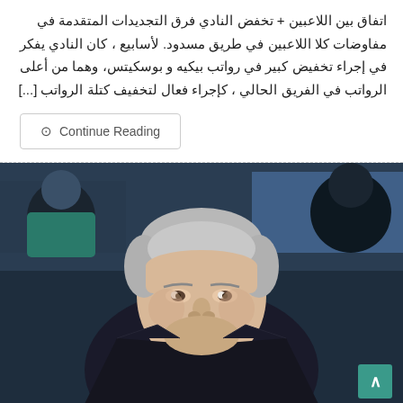اتفاق بين اللاعبين + تخفض النادي فرق التجديدات المتقدمة في مفاوضات كلا اللاعبين في طريق مسدود. لأسابيع ، كان النادي يفكر في إجراء تخفيض كبير في رواتب بيكيه و بوسكيتس، وهما من أعلى الرواتب في الفريق الحالي ، كإجراء فعال لتخفيف كتلة الرواتب [...]
Continue Reading
[Figure (photo): Close-up photo of an older man with silver/grey hair wearing a dark suit and white shirt, smiling slightly. Background shows a sports venue or stadium setting with blurred figures.]